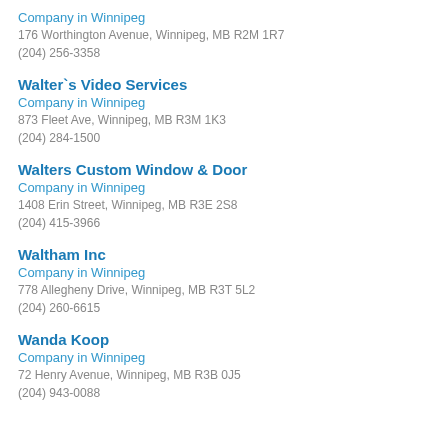Company in Winnipeg
176 Worthington Avenue, Winnipeg, MB R2M 1R7
(204) 256-3358
Walter`s Video Services
Company in Winnipeg
873 Fleet Ave, Winnipeg, MB R3M 1K3
(204) 284-1500
Walters Custom Window & Door
Company in Winnipeg
1408 Erin Street, Winnipeg, MB R3E 2S8
(204) 415-3966
Waltham Inc
Company in Winnipeg
778 Allegheny Drive, Winnipeg, MB R3T 5L2
(204) 260-6615
Wanda Koop
Company in Winnipeg
72 Henry Avenue, Winnipeg, MB R3B 0J5
(204) 943-0088